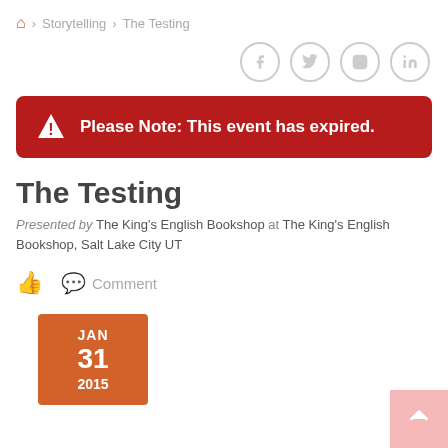Home > Storytelling > The Testing
[Figure (other): Social media icons: Facebook, Twitter, Instagram, LinkedIn]
Please Note: This event has expired.
The Testing
Presented by The King's English Bookshop at The King's English Bookshop, Salt Lake City UT
Comment
JAN 31 2015